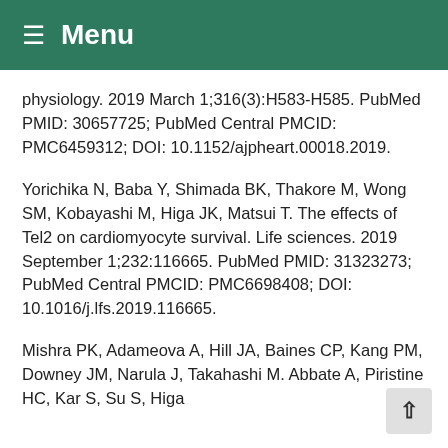≡ Menu
physiology. 2019 March 1;316(3):H583-H585. PubMed PMID: 30657725; PubMed Central PMCID: PMC6459312; DOI: 10.1152/ajpheart.00018.2019.
Yorichika N, Baba Y, Shimada BK, Thakore M, Wong SM, Kobayashi M, Higa JK, Matsui T. The effects of Tel2 on cardiomyocyte survival. Life sciences. 2019 September 1;232:116665. PubMed PMID: 31323273; PubMed Central PMCID: PMC6698408; DOI: 10.1016/j.lfs.2019.116665.
Mishra PK, Adameova A, Hill JA, Baines CP, Kang PM, Downey JM, Narula J, Takahashi M, Abbate A, Piristine HC, Kar S, Su S, Higa